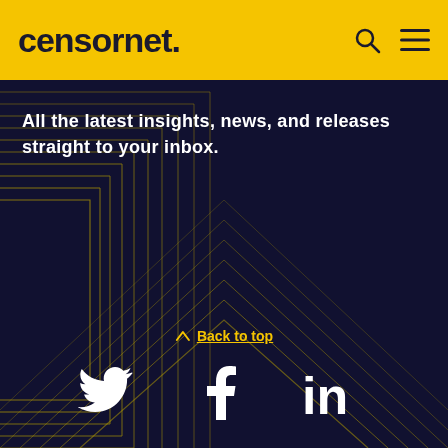censornet.
All the latest insights, news, and releases straight to your inbox.
Back to top
[Figure (illustration): Social media icons: Twitter bird, Facebook f, LinkedIn in — white on dark navy background]